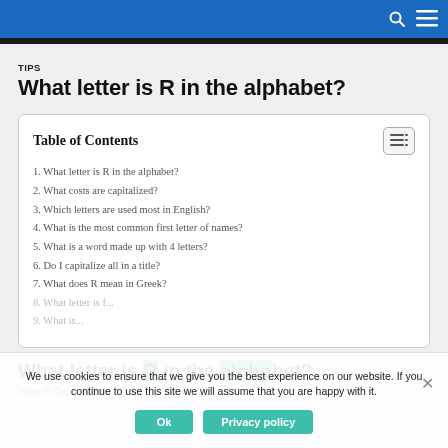TIPS
What letter is R in the alphabet?
| Table of Contents |
| --- |
| 1. What letter is R in the alphabet? |
| 2. What costs are capitalized? |
| 3. Which letters are used most in English? |
| 4. What is the most common first letter of names? |
| 5. What is a word made up with 4 letters? |
| 6. Do I capitalize all in a title? |
| 7. What does R mean in Greek? |
| 8. What letter is... |
| 9. What is... |
What letter is R in the alphabet?
letter in the alphabet...
We use cookies to ensure that we give you the best experience on our website. If you continue to use this site we will assume that you are happy with it.